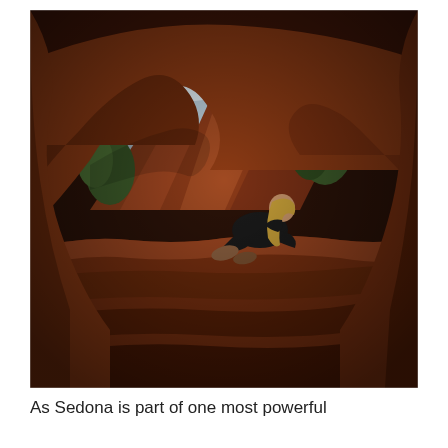[Figure (photo): A person with long blonde hair dressed in black sits cross-legged on a red sandstone ledge inside a cave or rock alcove in Sedona, Arizona. The irregular cave opening frames a scenic view of red rock formations, green trees, and a partly cloudy sky in the background. The cave walls are warm reddish-orange sandstone.]
As Sedona is part of one most powerful